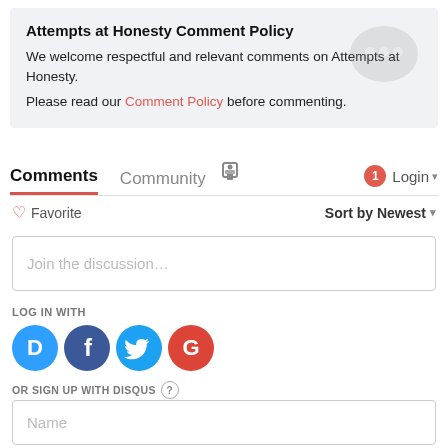Attempts at Honesty Comment Policy
We welcome respectful and relevant comments on Attempts at Honesty.
Please read our Comment Policy before commenting.
[Figure (illustration): Gray chat bubble icon in top right of policy box]
Comments   Community   [lock icon]   [1 notification]   Login ▾
♡ Favorite   Sort by Newest ▾
Join the discussion…
LOG IN WITH
[Figure (logo): Social login icons: Disqus (blue chat D), Facebook (dark blue F), Twitter (sky blue bird), Google (red G)]
OR SIGN UP WITH DISQUS ?
Name